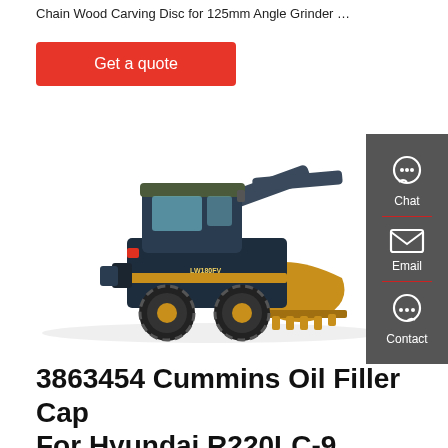Chain Wood Carving Disc for 125mm Angle Grinder …
Get a quote
[Figure (photo): Front wheel loader machine (LW180FV) in blue and yellow, with a large front bucket, on white background]
Chat
Email
Contact
3863454 Cummins Oil Filler Cap For Hyundai R220LC-9